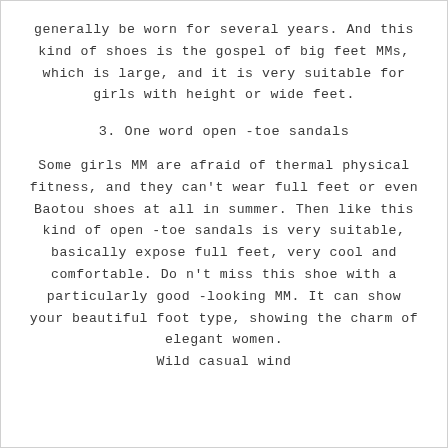generally be worn for several years. And this kind of shoes is the gospel of big feet MMs, which is large, and it is very suitable for girls with height or wide feet.
3. One word open -toe sandals
Some girls MM are afraid of thermal physical fitness, and they can't wear full feet or even Baotou shoes at all in summer. Then like this kind of open -toe sandals is very suitable, basically expose full feet, very cool and comfortable. Do n't miss this shoe with a particularly good -looking MM. It can show your beautiful foot type, showing the charm of elegant women. Wild casual wind